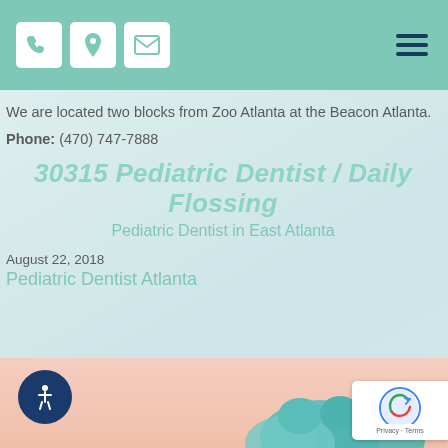Navigation header with phone, location, email icons and hamburger menu
We are located two blocks from Zoo Atlanta at the Beacon Atlanta.
Phone: (470) 747-7888
30315 Pediatric Dentist / Daily Flossing
Pediatric Dentist in East Atlanta
August 22, 2018
Pediatric Dentist Atlanta
[Figure (photo): Bottom partial image showing a light pink background with teal/blue tooth illustrations at the bottom edge]